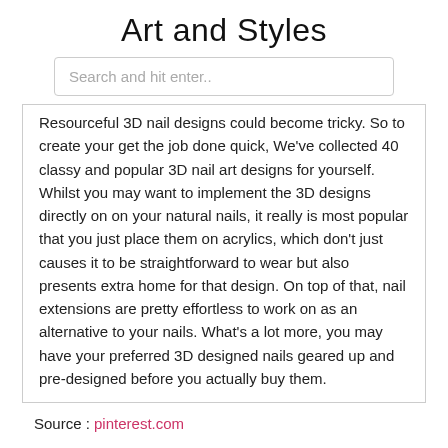Art and Styles
Search and hit enter..
Resourceful 3D nail designs could become tricky. So to create your get the job done quick, We've collected 40 classy and popular 3D nail art designs for yourself. Whilst you may want to implement the 3D designs directly on on your natural nails, it really is most popular that you just place them on acrylics, which don't just causes it to be straightforward to wear but also presents extra home for that design. On top of that, nail extensions are pretty effortless to work on as an alternative to your nails. What's a lot more, you may have your preferred 3D designed nails geared up and pre-designed before you actually buy them.
Source : pinterest.com
Random Posts